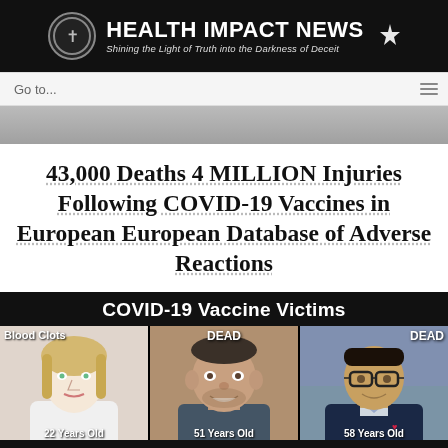HEALTH IMPACT NEWS — Shining the Light of Truth into the Darkness of Deceit
Go to...
43,000 Deaths 4 MILLION Injuries Following COVID-19 Vaccines in European European Database of Adverse Reactions
[Figure (infographic): COVID-19 Vaccine Victims infographic showing three individuals with labels: Blood Clots (young woman), DEAD 51 Years Old (middle-aged man), DEAD 58 Years Old (older man with glasses)]